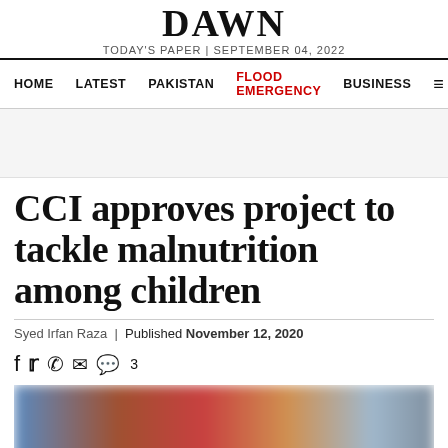DAWN
TODAY'S PAPER | SEPTEMBER 04, 2022
HOME | LATEST | PAKISTAN | FLOOD EMERGENCY | BUSINESS
CCI approves project to tackle malnutrition among children
Syed Irfan Raza | Published November 12, 2020
[Figure (photo): Blurred photo of people, appears to show a child health/nutrition context with colorful clothing]